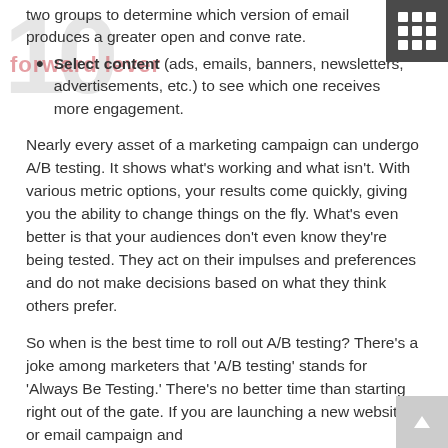two groups to determine which version of email produces a greater open and conversion rate.
Select content (ads, emails, banners, newsletters, advertisements, etc.) to see which one receives more engagement.
Nearly every asset of a marketing campaign can undergo A/B testing. It shows what’s working and what isn’t. With various metric options, your results come quickly, giving you the ability to change things on the fly. What’s even better is that your audiences don’t even know they’re being tested. They act on their impulses and preferences and do not make decisions based on what they think others prefer.
So when is the best time to roll out A/B testing? There’s a joke among marketers that ‘A/B testing’ stands for ‘Always Be Testing.’ There’s no better time than starting right out of the gate. If you are launching a new website or email campaign and